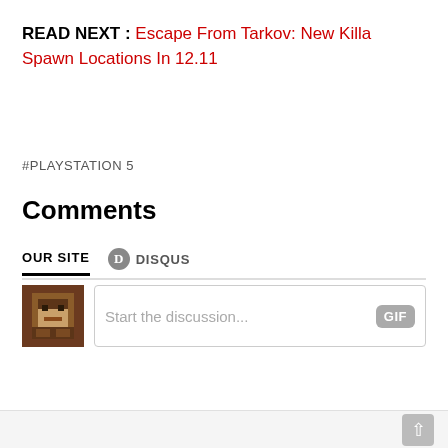READ NEXT : Escape From Tarkov: New Killa Spawn Locations In 12.11
#PLAYSTATION 5
Comments
OUR SITE   DISQUS
[Figure (screenshot): Comment input area with pixel avatar and 'Start the discussion...' placeholder with GIF button]
Back to top button